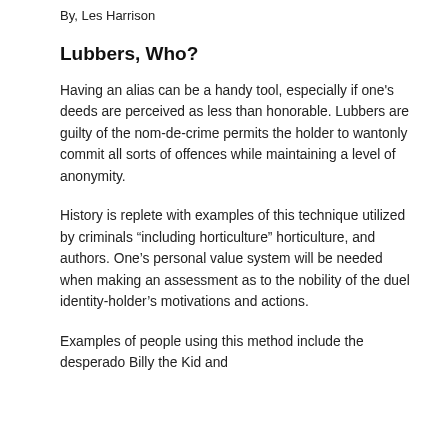By, Les Harrison
Lubbers, Who?
Having an alias can be a handy tool, especially if one’s deeds are perceived as less than honorable. Lubbers are guilty of the nom-de-crime permits the holder to wantonly commit all sorts of offences while maintaining a level of anonymity.
History is replete with examples of this technique utilized by criminals “including horticulture” horticulture, and authors. One’s personal value system will be needed when making an assessment as to the nobility of the duel identity-holder’s motivations and actions.
Examples of people using this method include the desperado Billy the Kid and